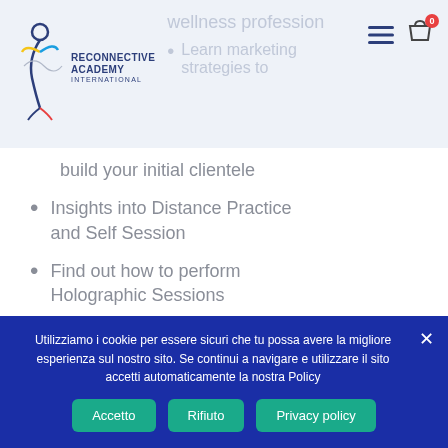Reconnective Academy International — navigation header with logo, hamburger menu, and cart icon (0 items). Faded background text: wellness profession / Learn marketing strategies to
build your initial clientele
Insights into Distance Practice and Self Session
Find out how to perform Holographic Sessions
Insights into Science and Philosophy
Utilizziamo i cookie per essere sicuri che tu possa avere la migliore esperienza sul nostro sito. Se continui a navigare e utilizzare il sito accetti automaticamente la nostra Policy
Accetto | Rifiuto | Privacy policy